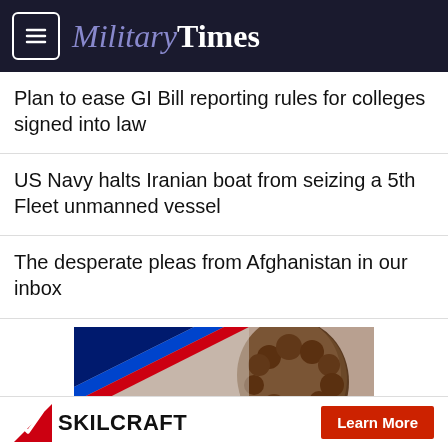Military Times
Plan to ease GI Bill reporting rules for colleges signed into law
US Navy halts Iranian boat from seizing a 5th Fleet unmanned vessel
The desperate pleas from Afghanistan in our inbox
[Figure (photo): Advertisement banner showing a person with dreadlocks and text 'You Have a Requirement. We Have a...' with diagonal stripe in corner]
[Figure (logo): SKILCRAFT logo with checkmark and Learn More red button at bottom of page]